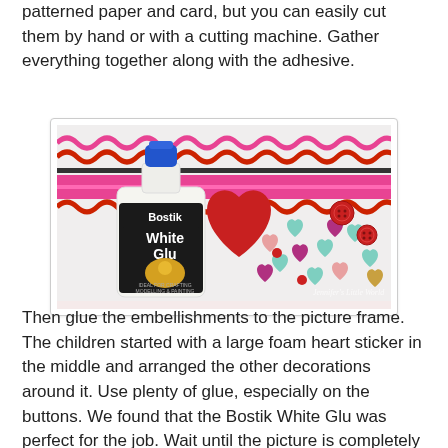patterned paper and card, but you can easily cut them by hand or with a cutting machine. Gather everything together along with the adhesive.
[Figure (photo): A bottle of Bostik White Glu adhesive next to a collection of craft materials: a large red glitter heart, smaller colourful hearts in teal, pink, and patterned styles, red and teal buttons, and decorative ribbons/rick-rack in pink and red. A watermark reads 'Jennifer's Little World'.]
Then glue the embellishments to the picture frame. The children started with a large foam heart sticker in the middle and arranged the other decorations around it. Use plenty of glue, especially on the buttons. We found that the Bostik White Glu was perfect for the job. Wait until the picture is completely dry before touching it and everything will remain